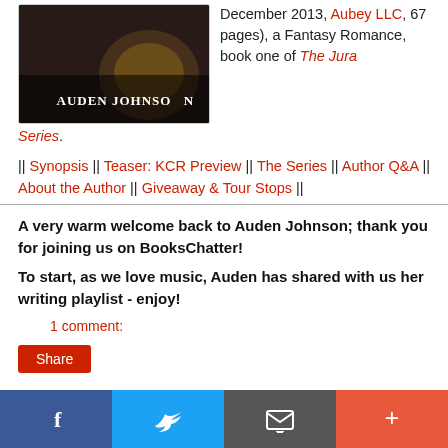[Figure (photo): Book cover for Auden Johnson with dark background and author name overlay]
December 2013, Aubey LLC, 67 pages), a Fantasy Romance, book one of The Jura Series.
|| Synopsis || Teaser: KCR Preview || The Series || Author Q&A || About the Author || Giveaway & Tour Stops ||
A very warm welcome back to Auden Johnson; thank you for joining us on BooksChatter!
To start, as we love music, Auden has shared with us her writing playlist - enjoy!
1 comment:
Share
[Figure (infographic): Social media sharing bar with Facebook, Twitter, email, and plus buttons]